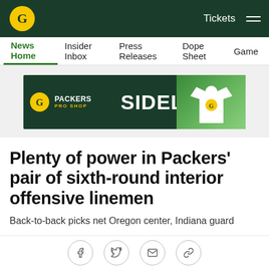Green Bay Packers — Tickets
News Home | Insider Inbox | Press Releases | Dope Sheet | Game
[Figure (advertisement): Packers Pro Shop Sideline advertisement banner with G logo and white t-shirt]
Plenty of power in Packers' pair of sixth-round interior offensive linemen
Back-to-back picks net Oregon center, Indiana guard
Apr 25, 2020 at 07:15 PM